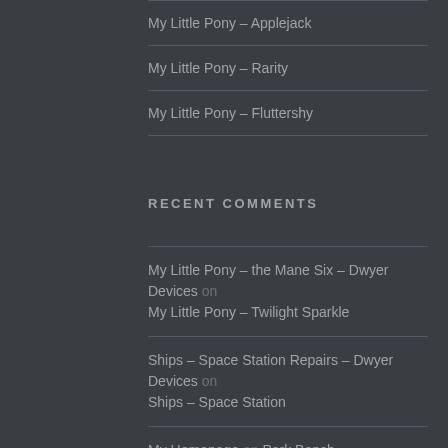My Little Pony – Applejack
My Little Pony – Rarity
My Little Pony – Fluttershy
RECENT COMMENTS
My Little Pony – the Mane Six – Dwyer Devices on My Little Pony – Twilight Sparkle
Ships – Space Station Repairs – Dwyer Devices on Ships – Space Station
My Homepage on Park Bench
Modding the Broken Airship – Dwyer Devices on Airship 1 – Model Errors